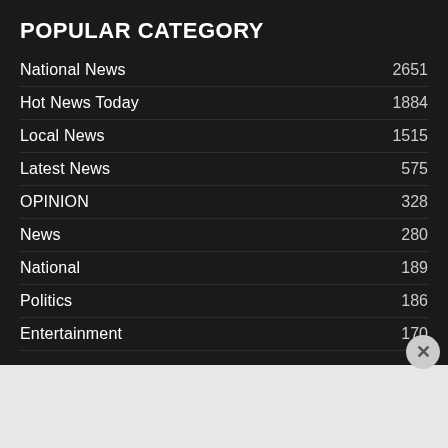POPULAR CATEGORY
National News 2651
Hot News Today 1884
Local News 1515
Latest News 575
OPINION 328
News 280
National 189
Politics 186
Entertainment 170
Advertisements
[Figure (infographic): DuckDuckGo advertisement banner: orange left panel with text 'Search, browse, and email with more privacy. All in One Free App' and dark right panel with DuckDuckGo logo and duck icon]